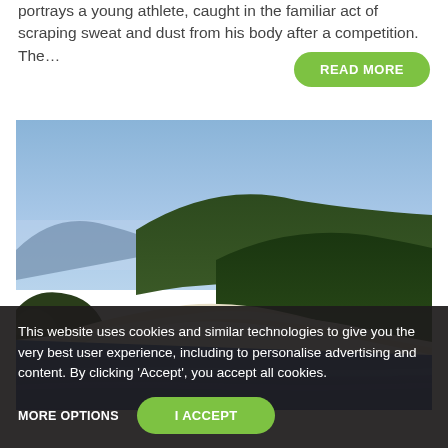portrays a young athlete, caught in the familiar act of scraping sweat and dust from his body after a competition. The…
READ MORE
[Figure (photo): Aerial or elevated view of a coastal bay with deep blue water, a white sandy beach/spit curving into the sea, and forested hills/mountains in the background under a blue hazy sky.]
This website uses cookies and similar technologies to give you the very best user experience, including to personalise advertising and content. By clicking 'Accept', you accept all cookies.
MORE OPTIONS
I ACCEPT